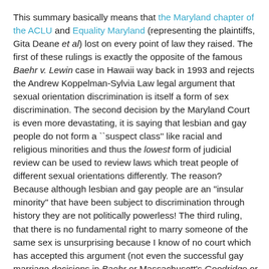This summary basically means that the Maryland chapter of the ACLU and Equality Maryland (representing the plaintiffs, Gita Deane et al) lost on every point of law they raised. The first of these rulings is exactly the opposite of the famous Baehr v. Lewin case in Hawaii way back in 1993 and rejects the Andrew Koppelman-Sylvia Law legal argument that sexual orientation discrimination is itself a form of sex discrimination. The second decision by the Maryland Court is even more devastating, it is saying that lesbian and gay people do not form a ``suspect class'' like racial and religious minorities and thus the lowest form of judicial review can be used to review laws which treat people of different sexual orientations differently. The reason? Because although lesbian and gay people are an "insular minority" that have been subject to discrimination through history they are not politically powerless! The third ruling, that there is no fundamental right to marry someone of the same sex is unsurprising because I know of no court which has accepted this argument (not even the successful gay marriage decisions in Baehr or Massachusett's Goodridge or New ...